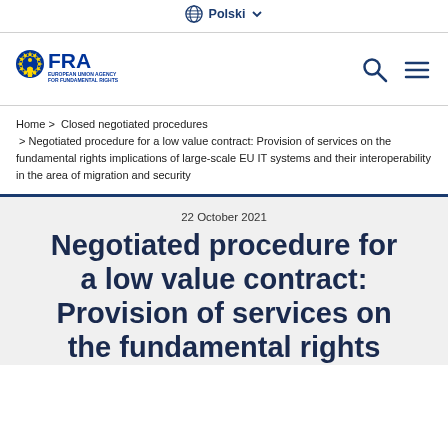Polski
[Figure (logo): FRA European Union Agency for Fundamental Rights logo with EU flag star circle and human figure in yellow/blue]
Home > Closed negotiated procedures > Negotiated procedure for a low value contract: Provision of services on the fundamental rights implications of large-scale EU IT systems and their interoperability in the area of migration and security
22 October 2021
Negotiated procedure for a low value contract: Provision of services on the fundamental rights